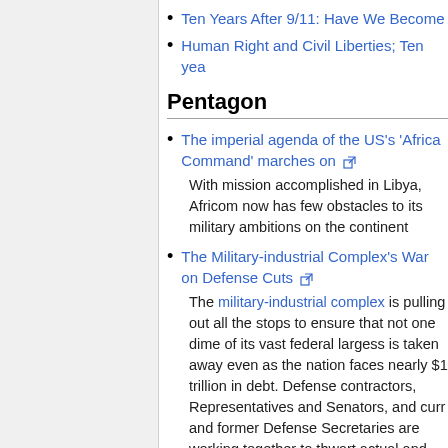Ten Years After 9/11: Have We Become
Human Right and Civil Liberties; Ten yea
Pentagon
The imperial agenda of the US's 'Africa Command' marches on [external link]
With mission accomplished in Libya, Africom now has few obstacles to its military ambitions on the continent
The Military-industrial Complex's War on Defense Cuts [external link]
The military-industrial complex is pulling out all the stops to ensure that not one dime of its vast federal largess is taken away even as the nation faces nearly $1 trillion in debt. Defense contractors, Representatives and Senators, and curr and former Defense Secretaries are working together to thwart actual and